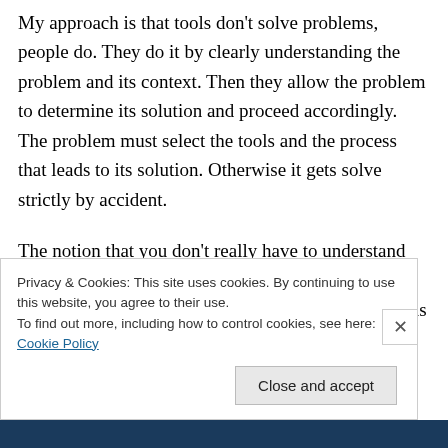My approach is that tools don't solve problems, people do. They do it by clearly understanding the problem and its context. Then they allow the problem to determine its solution and proceed accordingly. The problem must select the tools and the process that leads to its solution. Otherwise it gets solve strictly by accident.

The notion that you don't really have to understand the problem and simply hit the problem with a sufficient number of preexisting solutions and tools is the worst possible way to
Privacy & Cookies: This site uses cookies. By continuing to use this website, you agree to their use.
To find out more, including how to control cookies, see here: Cookie Policy